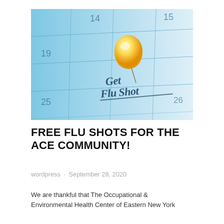[Figure (photo): A close-up photograph of a calendar with a yellow thumbtack pinned to a date and the words 'Get Flu Shot' written in handwriting on the calendar. The calendar shows dates 14, 15, 19, 25, and 26 visible. The background is a blue-tinted calendar grid.]
FREE FLU SHOTS FOR THE ACE COMMUNITY!
wordpress · September 28, 2020
We are thankful that The Occupational & Environmental Health Center of Eastern New York